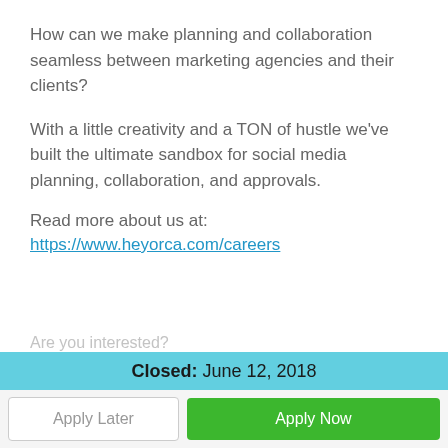How can we make planning and collaboration seamless between marketing agencies and their clients?
With a little creativity and a TON of hustle we've built the ultimate sandbox for social media planning, collaboration, and approvals.
Read more about us at:
https://www.heyorca.com/careers
Are you interested?
Closed: June 12, 2018
Apply Later
Apply Now